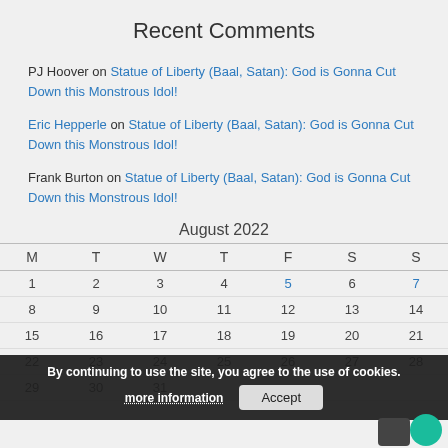Recent Comments
PJ Hoover on Statue of Liberty (Baal, Satan): God is Gonna Cut Down this Monstrous Idol!
Eric Hepperle on Statue of Liberty (Baal, Satan): God is Gonna Cut Down this Monstrous Idol!
Frank Burton on Statue of Liberty (Baal, Satan): God is Gonna Cut Down this Monstrous Idol!
August 2022
| M | T | W | T | F | S | S |
| --- | --- | --- | --- | --- | --- | --- |
| 1 | 2 | 3 | 4 | 5 | 6 | 7 |
| 8 | 9 | 10 | 11 | 12 | 13 | 14 |
| 15 | 16 | 17 | 18 | 19 | 20 | 21 |
| 22 | 23 | 24 | 25 | 26 | 27 | 28 |
| 29 | 30 | 31 |  |  |  |  |
By continuing to use the site, you agree to the use of cookies. more information Accept